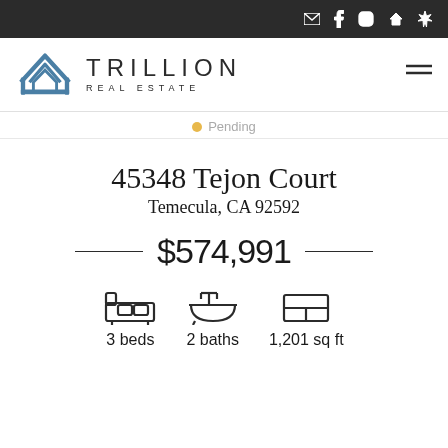Navigation bar with email, facebook, instagram, zillow, yelp icons
[Figure (logo): Trillion Real Estate logo with geometric house icon in blue and company name]
Pending
45348 Tejon Court
Temecula, CA 92592
$574,991
3 beds  2 baths  1,201 sq ft